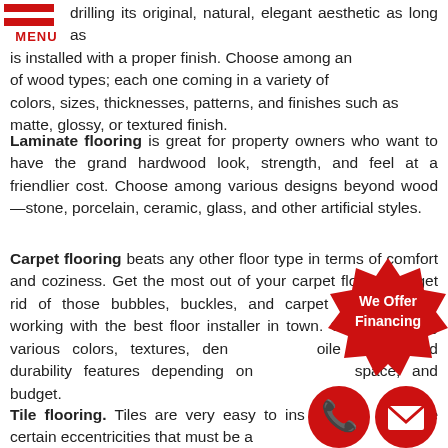[Figure (logo): Red hamburger menu icon with two red horizontal bars and 'MENU' text in red below]
drilling its original, natural, elegant aesthetic as long as it is installed with a proper finish. Choose among an array of wood types; each one coming in a variety of colors, sizes, thicknesses, patterns, and finishes such as matte, glossy, or textured finish.
Laminate flooring is great for property owners who want to have the grand hardwood look, strength, and feel at a friendlier cost. Choose among various designs beyond wood—stone, porcelain, ceramic, glass, and other artificial styles.
Carpet flooring beats any other floor type in terms of comfort and coziness. Get the most out of your carpet floors and get rid of those bubbles, buckles, and carpet unraveling by working with the best floor installer in town. Choose among various colors, textures, densities, pile height, and durability features depending on your style, space, and budget.
Tile flooring. Tiles are very easy to install, but they have certain eccentricities that must be addressed before,
[Figure (infographic): Red star-burst badge with white text 'We Offer Financing']
[Figure (infographic): Red circle icons with phone handset and envelope symbols for contact]